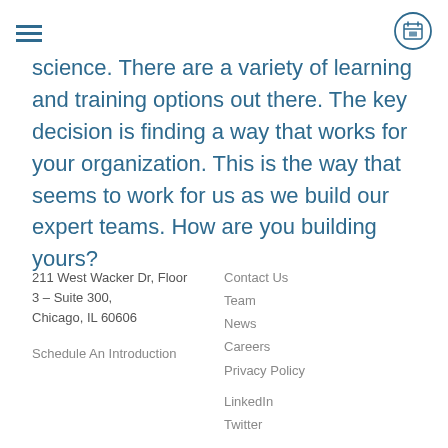[hamburger menu icon] [calendar icon]
science. There are a variety of learning and training options out there. The key decision is finding a way that works for your organization. This is the way that seems to work for us as we build our expert teams. How are you building yours?
211 West Wacker Dr, Floor 3 – Suite 300, Chicago, IL 60606
Schedule An Introduction
Contact Us
Team
News
Careers
Privacy Policy
LinkedIn
Twitter